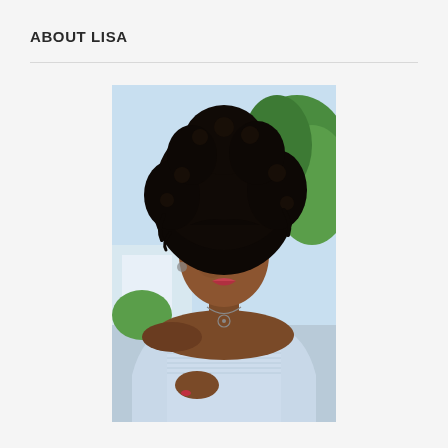ABOUT LISA
[Figure (photo): Portrait photo of Lisa, a Black woman with a large natural afro hairstyle, wearing an off-shoulder light blue top and a small necklace. She is looking to her left with a slight smile. The background is bright with blue sky and green trees, suggesting an outdoor setting on a sunny day.]